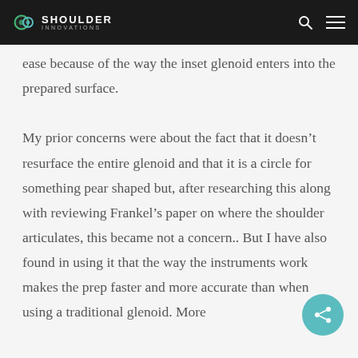Shoulder Innovations
ease because of the way the inset glenoid enters into the prepared surface.

My prior concerns were about the fact that it doesn't resurface the entire glenoid and that it is a circle for something pear shaped but, after researching this along with reviewing Frankel's paper on where the shoulder articulates, this became not a concern.. But I have also found in using it that the way the instruments work makes the prep faster and more accurate than when using a traditional glenoid. More